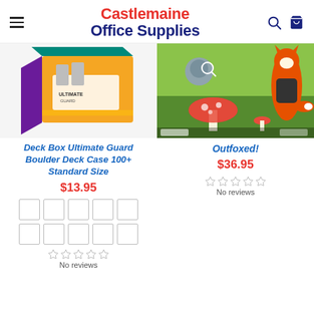Castlemaine Office Supplies
[Figure (photo): Product photo of Deck Box Ultimate Guard Boulder Deck Case 100+ Standard Size - a yellow and purple card storage box]
Deck Box Ultimate Guard Boulder Deck Case 100+ Standard Size
$13.95
[Figure (other): Color swatches grid showing 10 color options for the deck box]
No reviews
[Figure (photo): Product photo of Outfoxed! board game - colorful illustration of a fox and woodland creatures]
Outfoxed!
$36.95
No reviews